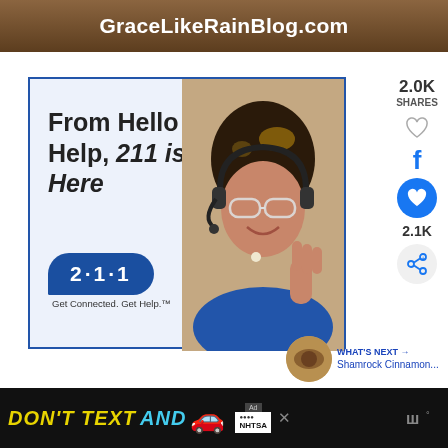GraceLikeRainBlog.com
[Figure (photo): Advertisement for 211 service: 'From Hello to Help, 211 is Here' with a woman wearing a headset and the 211 Get Connected. Get Help. logo bubble]
2.0K SHARES
2.1K
WHAT'S NEXT → Shamrock Cinnamon...
[Figure (photo): Bottom banner ad: DON'T TEXT AND [car emoji] with NHTSA logo ad badge and close button]